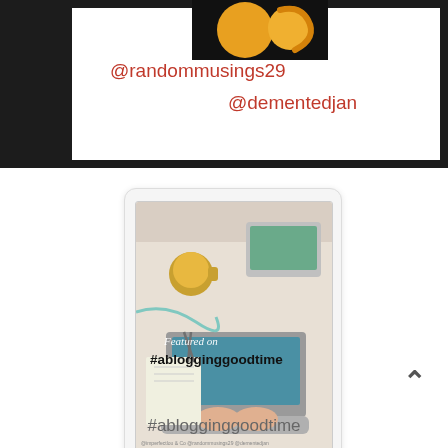[Figure (photo): Partial dark banner at top with white inset box, showing a cropped image of what appears to be fruit (orange/lemon) on a black background, two social media handles in red: @randommusings29 and @dementedjan]
@randommusings29
@dementedjan
[Figure (photo): Featured on #ablogginggoodtime badge image showing overhead view of a desk with laptop, tablet, coffee cup, notebooks, scissors, and hands typing. Text overlay reads 'Featured on #ablogginggoodtime']
#ablogginggoodtime